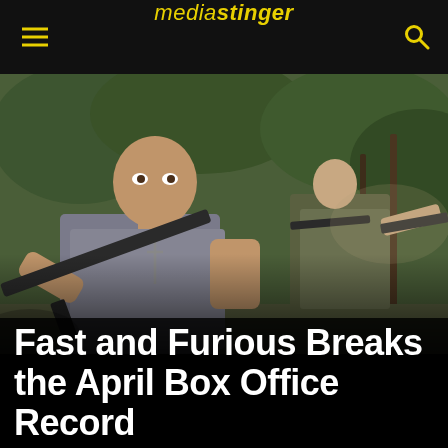mediastinger
[Figure (photo): Two men running with automatic rifles — one bald muscular man in a grey t-shirt with a cross necklace in the foreground, and another man in military gear behind him, set against a green leafy background.]
Fast and Furious Breaks the April Box Office Record